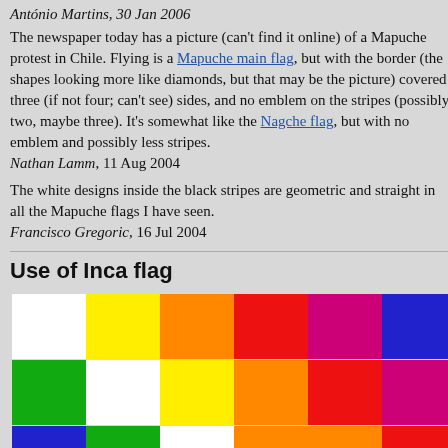António Martins, 30 Jan 2006
The newspaper today has a picture (can't find it online) of a Mapuche protest in Chile. Flying is a Mapuche main flag, but with the border (the shapes looking more like diamonds, but that may be the picture) covered three (if not four; can't see) sides, and no emblem on the stripes (possibly two, maybe three). It's somewhat like the Nagche flag, but with no emblem and possibly less stripes. Nathan Lamm, 11 Aug 2004
The white designs inside the black stripes are geometric and straight in all the Mapuche flags I have seen. Francisco Gregoric, 16 Jul 2004
Use of Inca flag
[Figure (illustration): Inca flag — a 7x4 grid of colored squares arranged in a rainbow/checkerboard pattern with colors including white, yellow, orange, red, magenta, blue, and green.]